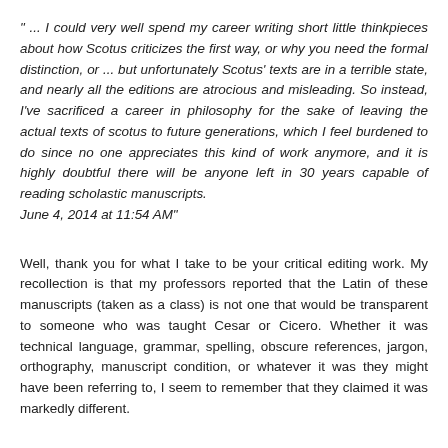" ... I could very well spend my career writing short little thinkpieces about how Scotus criticizes the first way, or why you need the formal distinction, or ... but unfortunately Scotus' texts are in a terrible state, and nearly all the editions are atrocious and misleading. So instead, I've sacrificed a career in philosophy for the sake of leaving the actual texts of scotus to future generations, which I feel burdened to do since no one appreciates this kind of work anymore, and it is highly doubtful there will be anyone left in 30 years capable of reading scholastic manuscripts. June 4, 2014 at 11:54 AM"
Well, thank you for what I take to be your critical editing work. My recollection is that my professors reported that the Latin of these manuscripts (taken as a class) is not one that would be transparent to someone who was taught Cesar or Cicero. Whether it was technical language, grammar, spelling, obscure references, jargon, orthography, manuscript condition, or whatever it was they might have been referring to, I seem to remember that they claimed it was markedly different.